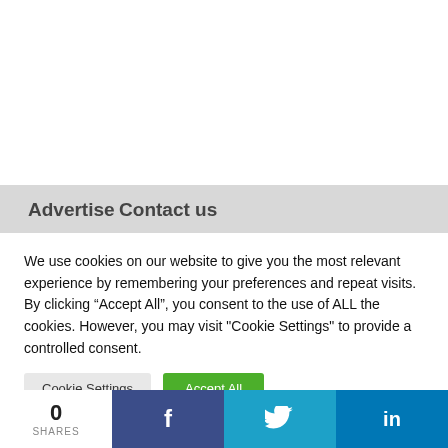Advertise
Contact us
We use cookies on our website to give you the most relevant experience by remembering your preferences and repeat visits. By clicking “Accept All”, you consent to the use of ALL the cookies. However, you may visit "Cookie Settings" to provide a controlled consent.
Cookie Settings | Accept All
0 SHARES | f | t | in